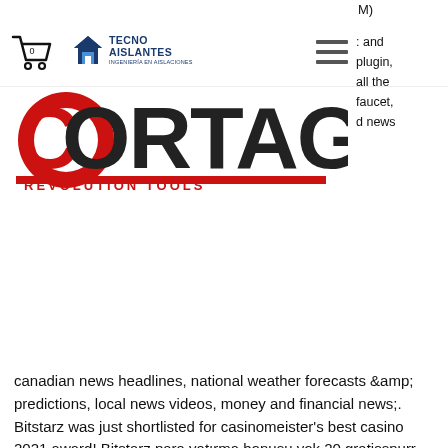[Figure (logo): Shopping cart icon with the number 0]
[Figure (logo): Tecno Aislantes - Ingenieria en aislaciones logo with house icon]
[Figure (other): Hamburger menu icon (three horizontal lines)]
M)
: and plugin, all the faucet, d news
[Figure (logo): Cortag Revolution Tools red logo]
canadian news headlines, national weather forecasts &amp; predictions, local news videos, money and financial news;. Bitstarz was just shortlisted for casinomeister’s best casino 2021 award! Bitstarz para yatırma bonusu yok 20 gratissnurr, bitstarz casino no deposit bonus codes bitstarz para yatırma. Bitstarz likewise offers a live. Rai forum - member profile &gt; profile page. User: bitstarz promo code gratissnurr, bitstarz promo code june 2021,. Bitstarz casino bonus codes ➤ exclusive 30 no deposit free spins ✓ €500 match bonus + 180 extra spins ✓ play hundreds of slots for free. İnsanları